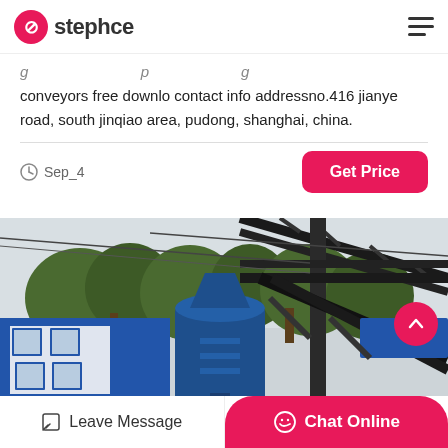stephce — navigation header with logo and hamburger menu
conveyors free downlo contact info addressno.416 jianye road, south jinqiao area, pudong, shanghai, china.
Sep_4
[Figure (photo): Industrial conveyor and machinery installation with blue building, large blue industrial equipment (cyclone/separator), and steel conveyor frame against a sky with trees.]
Leave Message | Chat Online